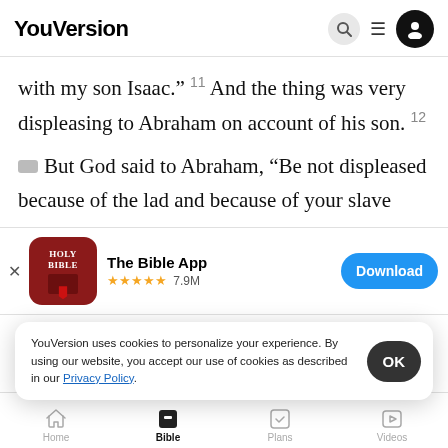YouVersion
with my son Isaac.” ¹¹ And the thing was very displeasing to Abraham on account of his son. ¹²
But God said to Abraham, “Be not displeased because of the lad and because of your slave
[Figure (screenshot): The Bible App download banner with Holy Bible app icon, 5 star rating 7.9M, and Download button]
named. ¹³ And I will make a nation of the son of the slave
offspring.   So Abraham rose early in the
YouVersion uses cookies to personalize your experience. By using our website, you accept our use of cookies as described in our Privacy Policy.
Home  Bible  Plans  Videos